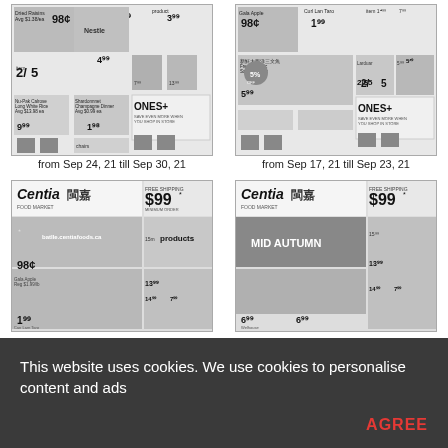[Figure (screenshot): Grocery store flyer thumbnail - prices like 98¢, $1.99, $4.99, $1.98, ONES+ logo, various food products]
from Sep 24, 21 till Sep 30, 21
[Figure (screenshot): Grocery store flyer thumbnail - prices like 98¢, $1.99, 2/$5, 5%, ONES+ logo, various food products]
from Sep 17, 21 till Sep 23, 21
[Figure (screenshot): Centia 閩嘉 Food Market flyer - $99 free shipping, 98¢, $1.99, $13.99, $14.99, $7.99 prices]
[Figure (screenshot): Centia 閩嘉 Food Market flyer - MID AUTUMN, $99 free shipping, 6/$1, 98¢, $6.99 prices]
This website uses cookies. We use cookies to personalise content and ads
AGREE